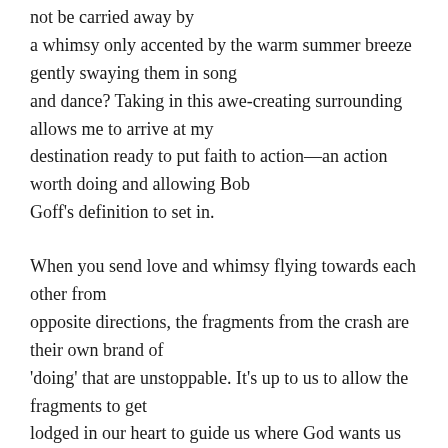not be carried away by a whimsy only accented by the warm summer breeze gently swaying them in song and dance? Taking in this awe-creating surrounding allows me to arrive at my destination ready to put faith to action—an action worth doing and allowing Bob Goff's definition to set in.
When you send love and whimsy flying towards each other from opposite directions, the fragments from the crash are their own brand of 'doing' that are unstoppable. It's up to us to allow the fragments to get lodged in our heart to guide us where God wants us to go—spreading more love and whimsy to all we encounter. Imagine everyone